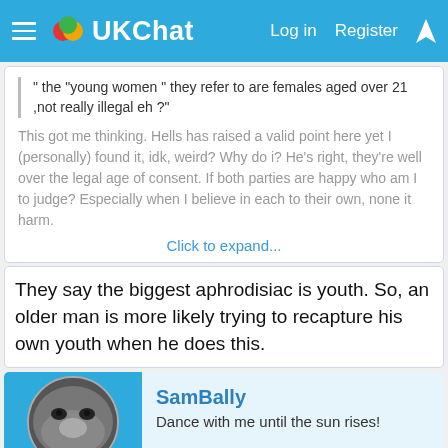UKChat — Log in  Register
" the "young women " they refer to are females aged over 21 ,not really illegal eh ?"
This got me thinking. Hells has raised a valid point here yet I (personally) found it, idk, weird? Why do i? He's right, they're well over the legal age of consent. If both parties are happy who am I to judge? Especially when I believe in each to their own, none it harm.
Click to expand...
They say the biggest aphrodisiac is youth. So, an older man is more likely trying to recapture his own youth when he does this.
SamBally
Dance with me until the sun rises!
May 27, 2022
#8
Say silly old man who has just compared bringing someone's